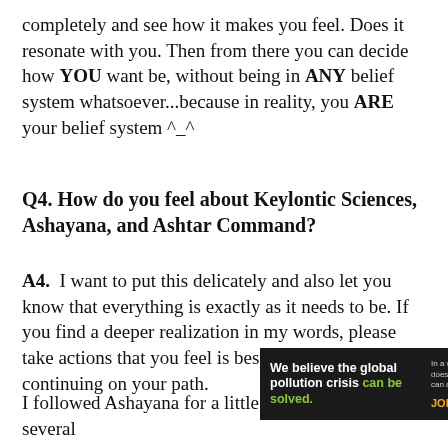completely and see how it makes you feel. Does it resonate with you. Then from there you can decide how YOU want be, without being in ANY belief system whatsoever...because in reality, you ARE your belief system ^_^
Q4. How do you feel about Keylontic Sciences, Ashayana, and Ashtar Command?
A4.  I want to put this delicately and also let you know that everything is exactly as it needs to be. If you find a deeper realization in my words, please take actions that you feel is best suited for continuing on your path.
I followed Ashayana for a little while, and had several
[Figure (infographic): Pure Earth advertisement banner with dark background. Left section: 'We believe the global pollution crisis can be solved.' (can be solved in green). Middle section: 'In a world where pollution doesn't stop at borders, we can all be part of the solution.' with 'JOIN US.' in orange/yellow. Right section: Pure Earth logo (diamond shape with green layers) and 'PURE EARTH' text in white.]